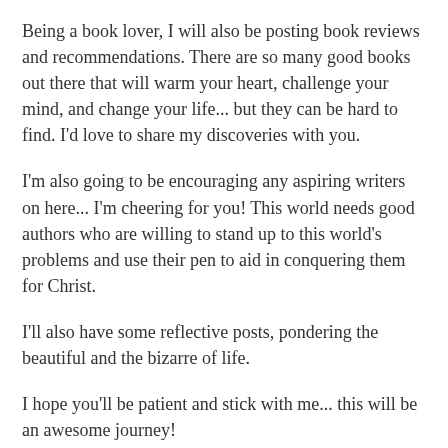Being a book lover, I will also be posting book reviews and recommendations. There are so many good books out there that will warm your heart, challenge your mind, and change your life... but they can be hard to find. I'd love to share my discoveries with you.
I'm also going to be encouraging any aspiring writers on here... I'm cheering for you! This world needs good authors who are willing to stand up to this world's problems and use their pen to aid in conquering them for Christ.
I'll also have some reflective posts, pondering the beautiful and the bizarre of life.
I hope you'll be patient and stick with me... this will be an awesome journey!